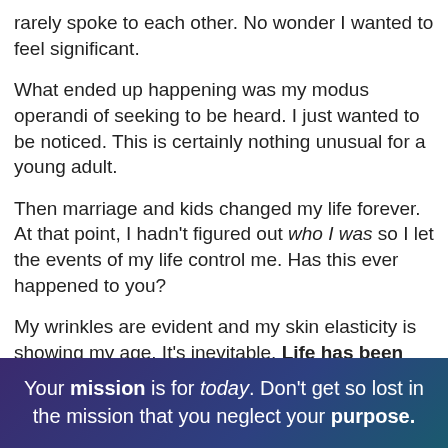rarely spoke to each other. No wonder I wanted to feel significant.
What ended up happening was my modus operandi of seeking to be heard. I just wanted to be noticed. This is certainly nothing unusual for a young adult.
Then marriage and kids changed my life forever. At that point, I hadn't figured out who I was so I let the events of my life control me. Has this ever happened to you?
My wrinkles are evident and my skin elasticity is showing my age. It's inevitable. Life has been passing me by.
“What do I have to show for it?” I ask.
Your mission is for today. Don’t get so lost in the mission that you neglect your purpose.